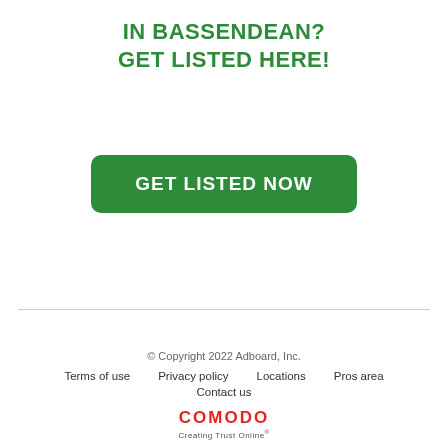IN BASSENDEAN?
GET LISTED HERE!
GET LISTED NOW
© Copyright 2022 Adboard, Inc.
Terms of use   Privacy policy   Locations   Pros area
Contact us
COMODO Creating Trust Online®